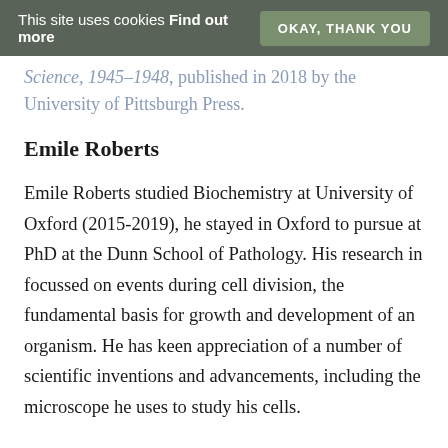This site uses cookies Find out more  OKAY, THANK YOU
Science, 1945–1948, published in 2018 by the University of Pittsburgh Press.
Emile Roberts
Emile Roberts studied Biochemistry at University of Oxford (2015-2019), he stayed in Oxford to pursue at PhD at the Dunn School of Pathology. His research in focussed on events during cell division, the fundamental basis for growth and development of an organism. He has keen appreciation of a number of scientific inventions and advancements, including the microscope he uses to study his cells.